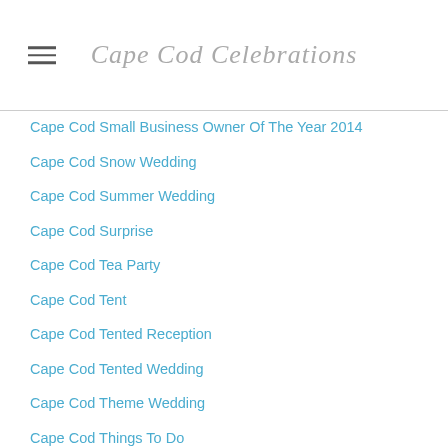Cape Cod Celebrations
Cape Cod Small Business Owner Of The Year 2014
Cape Cod Snow Wedding
Cape Cod Summer Wedding
Cape Cod Surprise
Cape Cod Tea Party
Cape Cod Tent
Cape Cod Tented Reception
Cape Cod Tented Wedding
Cape Cod Theme Wedding
Cape Cod Things To Do
Cape Cod Train Bridge
Cape Cod Wedding
Cape Cod Wedding Advice
Cape Cod Wedding Award
Cape Cod Wedding Backup Plans
Cape Cod Wedding Band
Cape Cod Wedding Blog